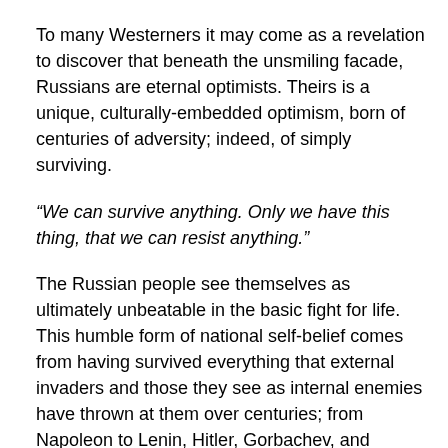To many Westerners it may come as a revelation to discover that beneath the unsmiling facade, Russians are eternal optimists. Theirs is a unique, culturally-embedded optimism, born of centuries of adversity; indeed, of simply surviving.
“We can survive anything. Only we have this thing, that we can resist anything.”
The Russian people see themselves as ultimately unbeatable in the basic fight for life. This humble form of national self-belief comes from having survived everything that external invaders and those they see as internal enemies have thrown at them over centuries; from Napoleon to Lenin, Hitler, Gorbachev, and Yeltsin.
According to Ilyin, Russia is a child of historic